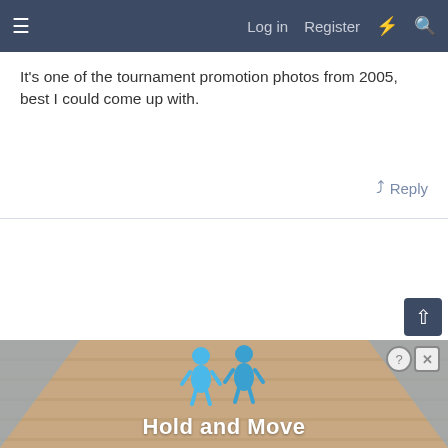≡  Log in  Register  ⚡  🔍
It's one of the tournament promotion photos from 2005, best I could come up with.
↩ Reply
[Figure (screenshot): Advertisement banner at the bottom showing 'Hold and Move' with cartoon figures on a wooden surface, and close/help buttons in the top right.]